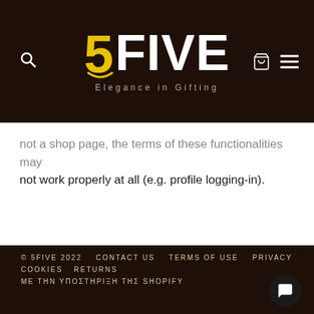[Figure (logo): 5FIVE Elegance in Gifting logo on dark brown background with search, cart and menu icons]
not work properly at all (e.g. profile logging-in).
© 5FIVE 2022  CONTACT US  TERMS OF USE  PRIVACY  COOKIES  RETURNS  ΜΕ ΤΗΝ ΥΠΟΣΤΗΡΙΞΗ ΤΗΣ SHOPIFY